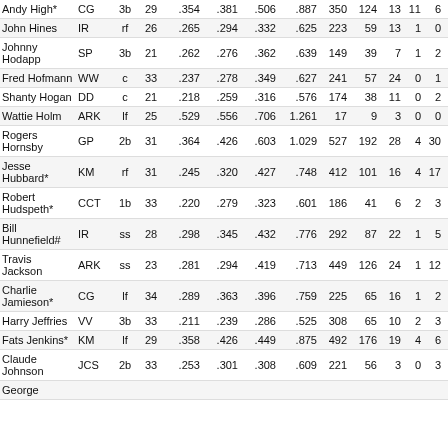| Name | Team | Pos | Age | AVG | OBP | SLG | OPS | AB | H | 2B | 3B | HR | RBI |
| --- | --- | --- | --- | --- | --- | --- | --- | --- | --- | --- | --- | --- | --- |
| Andy High* | CG | 3b | 29 | .354 | .381 | .506 | .887 | 350 | 124 | 13 | 11 | 6 | 61 |
| John Hines | IR | rf | 26 | .265 | .294 | .332 | .625 | 223 | 59 | 13 | 1 | 0 | 16 |
| Johnny Hodapp | SP | 3b | 21 | .262 | .276 | .362 | .639 | 149 | 39 | 7 | 1 | 2 | 26 |
| Fred Hofmann | WW | c | 33 | .237 | .278 | .349 | .627 | 241 | 57 | 24 | 0 | 1 | 32 |
| Shanty Hogan | DD | c | 21 | .218 | .259 | .316 | .576 | 174 | 38 | 11 | 0 | 2 | 27 |
| Wattie Holm | ARK | lf | 25 | .529 | .556 | .706 | 1.261 | 17 | 9 | 3 | 0 | 0 | 4 |
| Rogers Hornsby | GP | 2b | 31 | .364 | .426 | .603 | 1.029 | 527 | 192 | 28 | 4 | 30 | 90 |
| Jesse Hubbard* | KM | rf | 31 | .245 | .320 | .427 | .748 | 412 | 101 | 16 | 4 | 17 | 66 |
| Robert Hudspeth* | CCT | 1b | 33 | .220 | .279 | .323 | .601 | 186 | 41 | 6 | 2 | 3 | 20 |
| Bill Hunnefield# | IR | ss | 28 | .298 | .345 | .432 | .776 | 292 | 87 | 22 | 1 | 5 | 30 |
| Travis Jackson | ARK | ss | 23 | .281 | .294 | .419 | .713 | 449 | 126 | 24 | 1 | 12 | 83 |
| Charlie Jamieson* | CG | lf | 34 | .289 | .363 | .396 | .759 | 225 | 65 | 16 | 1 | 2 | 22 |
| Harry Jeffries | VV | 3b | 33 | .211 | .239 | .286 | .525 | 308 | 65 | 10 | 2 | 3 | 39 |
| Fats Jenkins* | KM | lf | 29 | .358 | .426 | .449 | .875 | 492 | 176 | 19 | 4 | 6 | 58 |
| Claude Johnson | JCS | 2b | 33 | .253 | .301 | .308 | .609 | 221 | 56 | 3 | 0 | 3 | 25 |
| George |  |  |  |  |  |  |  |  |  |  |  |  |  |